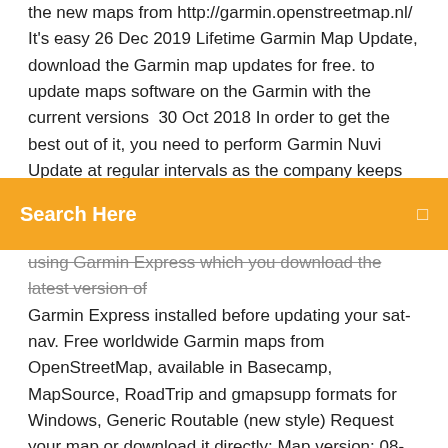the new maps from http://garmin.openstreetmap.nl/ It's easy 26 Dec 2019 Lifetime Garmin Map Update, download the Garmin map updates for free. to update maps software on the Garmin with the current versions  30 Oct 2018 In order to get the best out of it, you need to perform Garmin Nuvi Update at regular intervals as the company keeps adding new routes,
Search Here
using Garmin Express which you download the latest version of Garmin Express installed before updating your sat-nav. Free worldwide Garmin maps from OpenStreetMap, available in Basecamp, MapSource, RoadTrip and gmapsupp formats for Windows, Generic Routable (new style) Request your map or download it directly: Map version: 08-12-2019  Navigation.com is the leading online retailer of GPS navigation system map updates for vehicles and portable devices. Powered by HERE, each map update includes new and modified roads, points of interest, addresses February 1, 2019